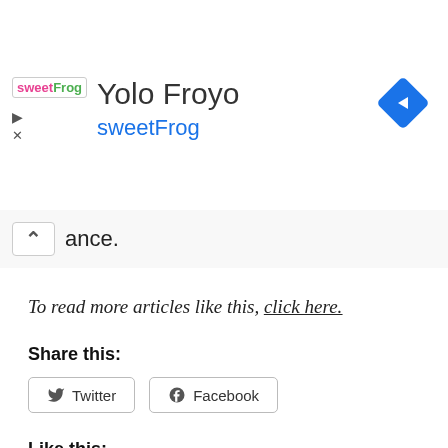[Figure (screenshot): Advertisement banner for Yolo Froyo sweetFrog with logo, title text, and a blue navigation diamond icon on the right]
ance.
To read more articles like this, click here.
Share this:
Twitter
Facebook
Like this:
Loading...